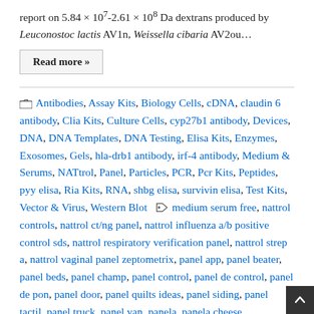report on 5.84 × 107-2.61 × 108 Da dextrans produced by Leuconostoc lactis AV1n, Weissella cibaria AV2ou…
Read more »
Antibodies, Assay Kits, Biology Cells, cDNA, claudin 6 antibody, Clia Kits, Culture Cells, cyp27b1 antibody, Devices, DNA, DNA Templates, DNA Testing, Elisa Kits, Enzymes, Exosomes, Gels, hla-drb1 antibody, irf-4 antibody, Medium & Serums, NATtrol, Panel, Particles, PCR, Pcr Kits, Peptides, pyy elisa, Ria Kits, RNA, shbg elisa, survivin elisa, Test Kits, Vector & Virus, Western Blot
medium serum free, nattrol controls, nattrol ct/ng panel, nattrol influenza a/b positive control sds, nattrol respiratory verification panel, nattrol strep a, nattrol vaginal panel zeptometrix, panel app, panel beater, panel beds, panel champ, panel control, panel de control, panel de pon, panel door, panel quilts ideas, panel siding, panel tactil, panel truck, panel van, panela, panela cheese,